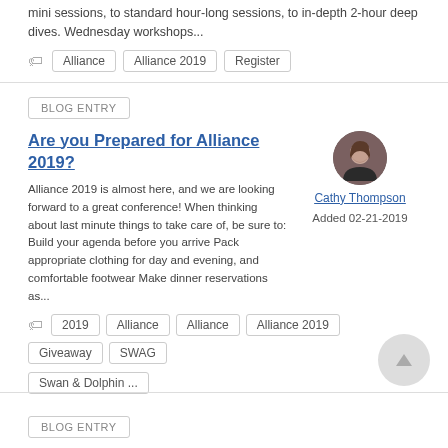mini sessions, to standard hour-long sessions, to in-depth 2-hour deep dives. Wednesday workshops...
Alliance
Alliance 2019
Register
BLOG ENTRY
Are you Prepared for Alliance 2019?
Alliance 2019 is almost here, and we are looking forward to a great conference! When thinking about last minute things to take care of, be sure to: Build your agenda before you arrive Pack appropriate clothing for day and evening, and comfortable footwear Make dinner reservations as...
Cathy Thompson
Added 02-21-2019
2019
Alliance
Alliance
Alliance 2019
Giveaway
SWAG
Swan & Dolphin ...
BLOG ENTRY